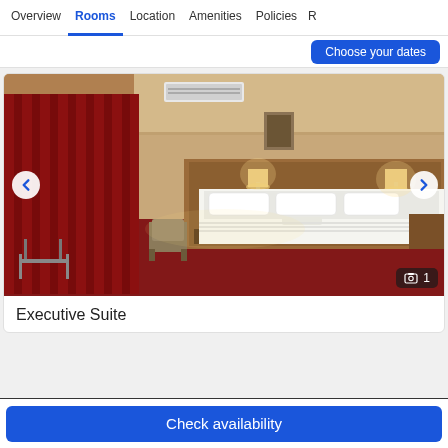Overview  Rooms  Location  Amenities  Policies  R
Choose your dates
[Figure (photo): Hotel Executive Suite room photo showing a large bed with white linens, dark red carpet, burgundy curtains, warm lighting, air conditioning unit, and bedside lamps. Navigation arrows on left and right sides. Photo count badge showing 1 in bottom right.]
Executive Suite
Check availability